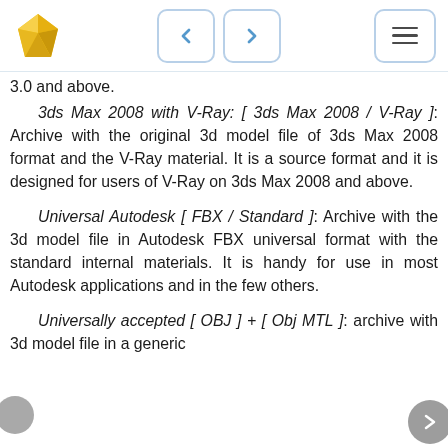[Figure (logo): Gold/yellow geometric gem/crystal logo icon in top left navigation bar]
[Figure (other): Navigation bar with left arrow button, right arrow button, and hamburger menu button]
3.0 and above.
3ds Max 2008 with V-Ray: [ 3ds Max 2008 / V-Ray ]: Archive with the original 3d model file of 3ds Max 2008 format and the V-Ray material. It is a source format and it is designed for users of V-Ray on 3ds Max 2008 and above.
Universal Autodesk [ FBX / Standard ]: Archive with the 3d model file in Autodesk FBX universal format with the standard internal materials. It is handy for use in most Autodesk applications and in the few others.
Universally accepted [ OBJ ] + [ Obj MTL ]: archive with 3d model file in a generic